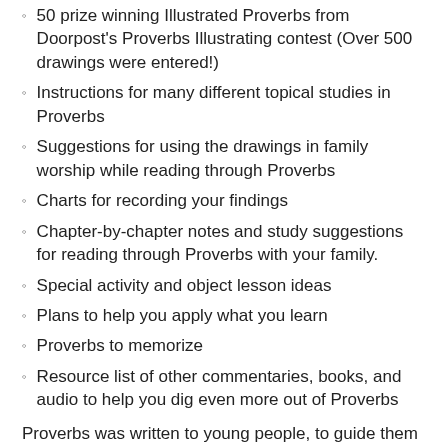50 prize winning Illustrated Proverbs from Doorpost's Proverbs Illustrating contest (Over 500 drawings were entered!)
Instructions for many different topical studies in Proverbs
Suggestions for using the drawings in family worship while reading through Proverbs
Charts for recording your findings
Chapter-by-chapter notes and study suggestions for reading through Proverbs with your family.
Special activity and object lesson ideas
Plans to help you apply what you learn
Proverbs to memorize
Resource list of other commentaries, books, and audio to help you dig even more out of Proverbs
Proverbs was written to young people, to guide them in